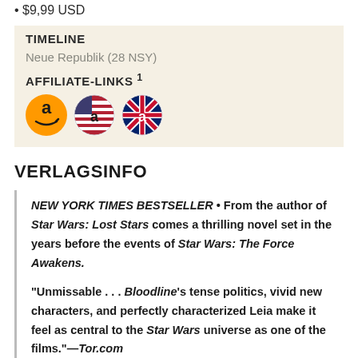$9,99 USD
TIMELINE
Neue Republik (28 NSY)
AFFILIATE-LINKS 1
[Figure (logo): Three Amazon affiliate link icons: Amazon DE (orange logo), Amazon US (flag-style), Amazon UK (Union Jack style)]
VERLAGSINFO
NEW YORK TIMES BESTSELLER • From the author of Star Wars: Lost Stars comes a thrilling novel set in the years before the events of Star Wars: The Force Awakens.
"Unmissable . . . Bloodline's tense politics, vivid new characters, and perfectly characterized Leia make it feel as central to the Star Wars universe as one of the films."—Tor.com